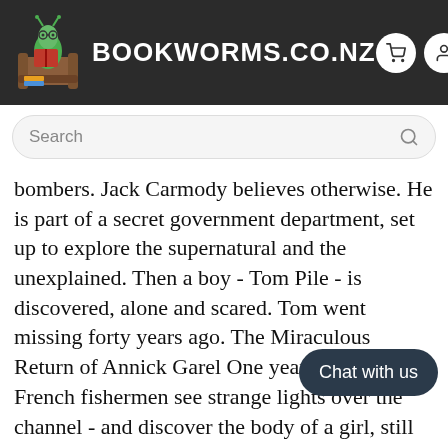BOOKWORMS.CO.NZ
Search
bombers. Jack Carmody believes otherwise. He is part of a secret government department, set up to explore the supernatural and the unexplained. Then a boy - Tom Pile - is discovered, alone and scared. Tom went missing forty years ago. The Miraculous Return of Annick Garel One year later two French fishermen see strange lights over the channel - and discover the body of a girl, still alive. Annick Garel drowned in a storm thirty year[s ago. Both] children have powers that cou[ld change the] course of the Second World Wa[r. Both sides] in that war want their secrets. These are two
Chat with us